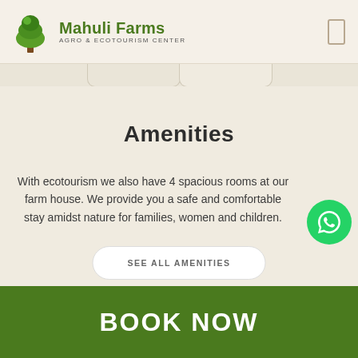Mahuli Farms AGRO & ECOTOURISM CENTER
Amenities
With ecotourism we also have 4 spacious rooms at our farm house. We provide you a safe and comfortable stay amidst nature for families, women and children.
SEE ALL AMENITIES
BOOK NOW